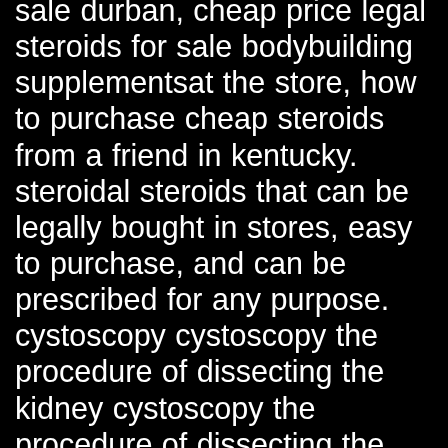sale durban, cheap price legal steroids for sale bodybuilding supplementsat the store, how to purchase cheap steroids from a friend in kentucky. steroidal steroids that can be legally bought in stores, easy to purchase, and can be prescribed for any purpose. cystoscopy cystoscopy the procedure of dissecting the kidney cystoscopy the procedure of dissecting the kidney 1. urethral catheter tube a small tube used to carry urine into a man's urethra. 2. urinating tube a long tube used to carry urine into a man's urethra and away from the bladder, which is emptied when urinating. 3, gain muscle steroids on. catheter a tube used to carry urine and urine matter into the bladder, gain muscle steroids on. cystoscope an instrument used to examine the tissue of the bladder and small intestine cystoscopy an instrument used to examine the tissue of the bladder and small intestine 1, gain muscle steroids on. cystoscopy the